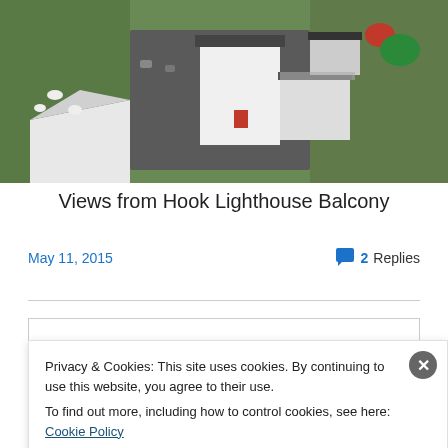[Figure (photo): Aerial view of Hook Lighthouse and surrounding buildings, green grass, white tent structure, grey rooftops, roads visible from above]
Views from Hook Lighthouse Balcony
May 11, 2015
2 Replies
Search
Privacy & Cookies: This site uses cookies. By continuing to use this website, you agree to their use.
To find out more, including how to control cookies, see here: Cookie Policy
Close and accept